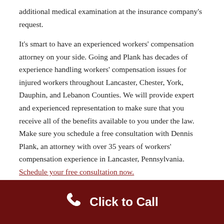additional medical examination at the insurance company's request.

It's smart to have an experienced workers' compensation attorney on your side. Going and Plank has decades of experience handling workers' compensation issues for injured workers throughout Lancaster, Chester, York, Dauphin, and Lebanon Counties. We will provide expert and experienced representation to make sure that you receive all of the benefits available to you under the law. Make sure you schedule a free consultation with Dennis Plank, an attorney with over 35 years of workers' compensation experience in Lancaster, Pennsylvania. Schedule your free consultation now.
Step Three: Filing a Workers'
[Figure (other): Dark red footer bar with a phone/call icon and 'Click to Call' text in white]